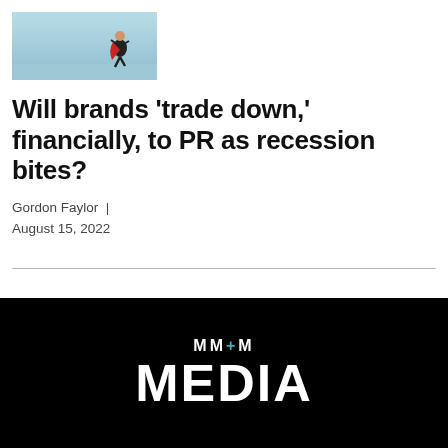[Figure (photo): Hero image showing a figure (superhero) on a light blue background, positioned at top left of the article card]
Will brands 'trade down,' financially, to PR as recession bites?
Gordon Faylor | August 15, 2022
[Figure (logo): MM+M MEDIA logo in white text on black background]